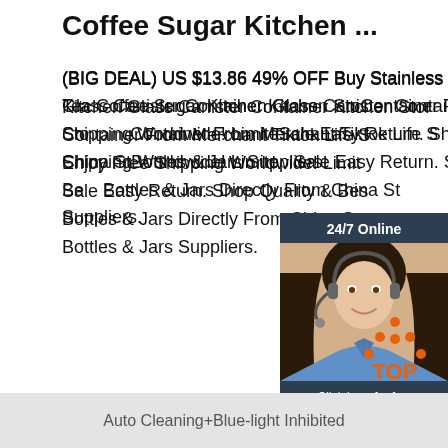Coffee Sugar Kitchen ...
(BIG DEAL) US $13.86 49% OFF Buy Stainless Steel Storage Jar Tea Coffee Sugar Kitchen Glass Canister Container Kitchen Storage Container From Merchant Tiktok Life Store. Enjoy Free Shipping Worldwide! Limited Sale Easy Return. Shop Quality & Best Bottles & Jars Directly From China Storage Bottles & Jars Suppliers.
[Figure (illustration): Customer service widget with dark navy background. Top section shows '24/7 Online' text. Middle shows photo of smiling woman with headset. Bottom has italic text 'Click here for free chat!' and orange QUOTATION button.]
Get Price
[Figure (logo): Orange dotted triangle above orange text reading 'TOP']
Auto Cleaning+Blue-light Inhibited